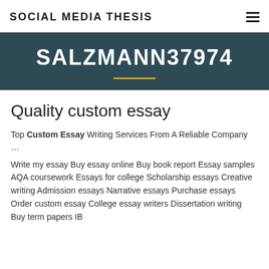SOCIAL MEDIA THESIS
SALZMANN37974
Quality custom essay
Top Custom Essay Writing Services From A Reliable Company …
Write my essay Buy essay online Buy book report Essay samples AQA coursework Essays for college Scholarship essays Creative writing Admission essays Narrative essays Purchase essays Order custom essay College essay writers Dissertation writing Buy term papers IB